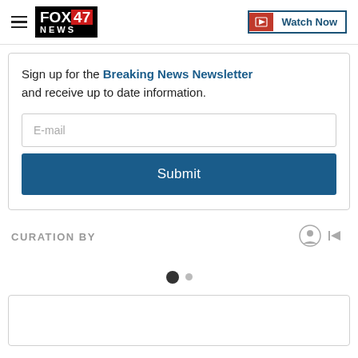[Figure (logo): FOX 47 NEWS logo with hamburger menu and Watch Now button in header]
Sign up for the Breaking News Newsletter and receive up to date information.
[Figure (screenshot): E-mail input field placeholder]
[Figure (screenshot): Submit button]
CURATION BY
[Figure (other): Pagination dots: one large filled circle and one small circle]
[Figure (screenshot): Bottom card placeholder area]